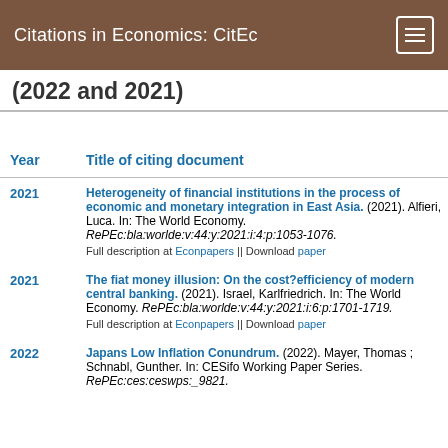Citations in Economics: CitEc
(2022 and 2021)
| Year | Title of citing document |
| --- | --- |
| 2021 | Heterogeneity of financial institutions in the process of economic and monetary integration in East Asia. (2021). Alfieri, Luca. In: The World Economy. RePEc:bla:worlde:v:44:y:2021:i:4:p:1053-1076. Full description at Econpapers || Download paper |
| 2021 | The fiat money illusion: On the cost?efficiency of modern central banking. (2021). Israel, Karlfriedrich. In: The World Economy. RePEc:bla:worlde:v:44:y:2021:i:6:p:1701-1719. Full description at Econpapers || Download paper |
| 2022 | Japans Low Inflation Conundrum. (2022). Mayer, Thomas ; Schnabl, Gunther. In: CESifo Working Paper Series. RePEc:ces:ceswps:_9821. |